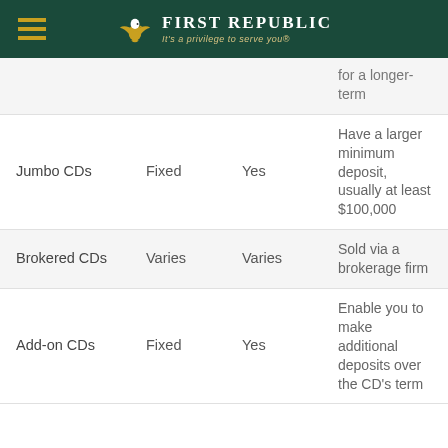First Republic — It's a privilege to serve you®
| Type | Rate | Penalty? | Notes |
| --- | --- | --- | --- |
|  |  |  | for a longer-term |
| Jumbo CDs | Fixed | Yes | Have a larger minimum deposit, usually at least $100,000 |
| Brokered CDs | Varies | Varies | Sold via a brokerage firm |
| Add-on CDs | Fixed | Yes | Enable you to make additional deposits over the CD's term |